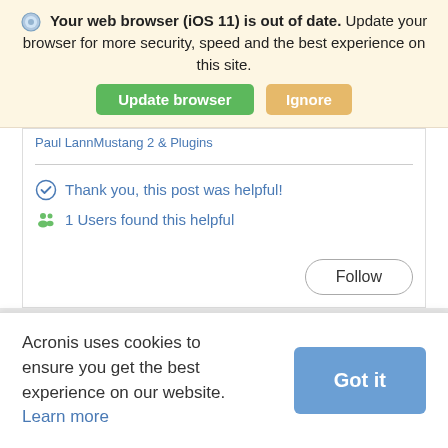Your web browser (iOS 11) is out of date. Update your browser for more security, speed and the best experience on this site.
Update browser
Ignore
Paul Lann Mustang 2 & Plugins
Thank you, this post was helpful!
1 Users found this helpful
Follow
Acronis uses cookies to ensure you get the best experience on our website. Learn more
Got it